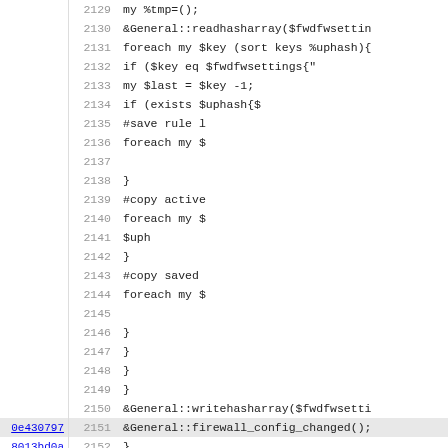[Figure (screenshot): Source code diff/blame view showing Perl code lines 2129-2161, with line numbers, optional commit hashes, and code content. Line 2151 is highlighted. The code shows subroutines for firewall settings manipulation including pos_down and hash array operations.]